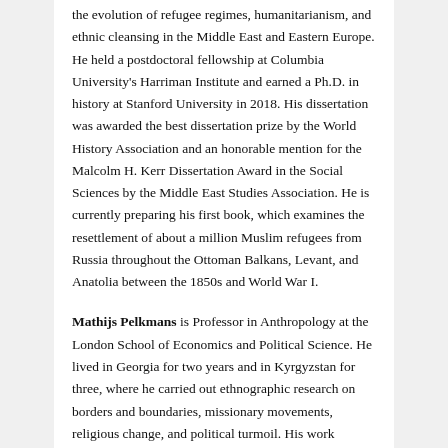the evolution of refugee regimes, humanitarianism, and ethnic cleansing in the Middle East and Eastern Europe. He held a postdoctoral fellowship at Columbia University's Harriman Institute and earned a Ph.D. in history at Stanford University in 2018. His dissertation was awarded the best dissertation prize by the World History Association and an honorable mention for the Malcolm H. Kerr Dissertation Award in the Social Sciences by the Middle East Studies Association. He is currently preparing his first book, which examines the resettlement of about a million Muslim refugees from Russia throughout the Ottoman Balkans, Levant, and Anatolia between the 1850s and World War I.
Mathijs Pelkmans is Professor in Anthropology at the London School of Economics and Political Science. He lived in Georgia for two years and in Kyrgyzstan for three, where he carried out ethnographic research on borders and boundaries, missionary movements, religious change, and political turmoil. His work includes the edited volume Ethnographies of Doubt: Faith and